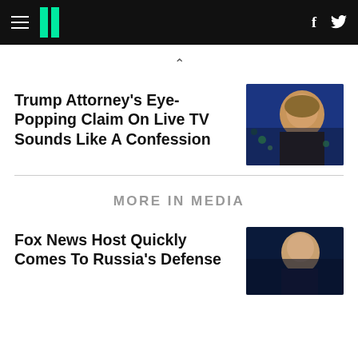HuffPost navigation bar with hamburger menu, logo, Facebook and Twitter icons
Trump Attorney's Eye-Popping Claim On Live TV Sounds Like A Confession
[Figure (photo): Photo of a blonde woman speaking, dark background with city lights]
MORE IN MEDIA
Fox News Host Quickly Comes To Russia's Defense